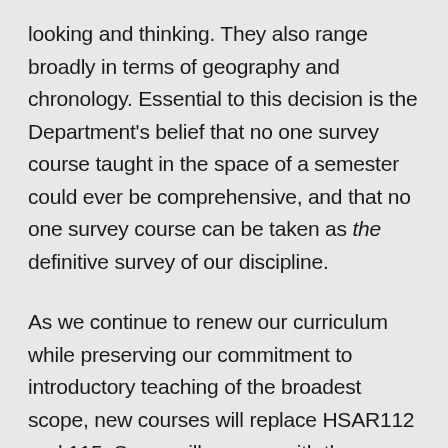looking and thinking. They also range broadly in terms of geography and chronology. Essential to this decision is the Department's belief that no one survey course taught in the space of a semester could ever be comprehensive, and that no one survey course can be taken as the definitive survey of our discipline.
As we continue to renew our curriculum while preserving our commitment to introductory teaching of the broadest scope, new courses will replace HSAR112 and 115. Some will engage with the monuments and masterpieces of European and American art, some will introduce other world traditions, and some will be organized thematically offering comparative